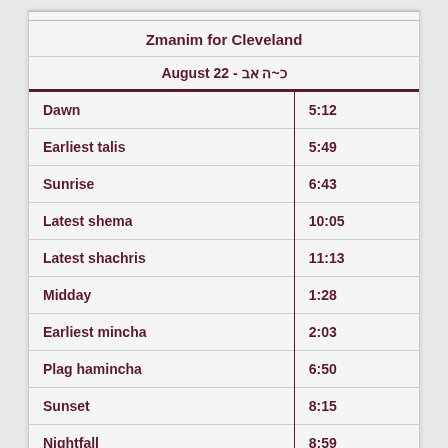Zmanim for Cleveland
August 22 - כ~ה אב
|  |  |
| --- | --- |
| Dawn | 5:12 |
| Earliest talis | 5:49 |
| Sunrise | 6:43 |
| Latest shema | 10:05 |
| Latest shachris | 11:13 |
| Midday | 1:28 |
| Earliest mincha | 2:03 |
| Plag hamincha | 6:50 |
| Sunset | 8:15 |
| Nightfall | 8:59 |
| 72 minutes | 9:28 |
( Click for more )